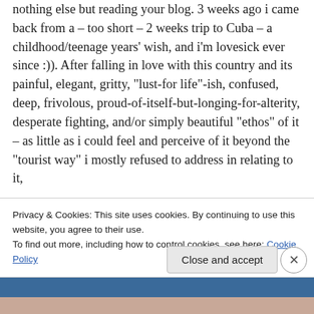nothing else but reading your blog. 3 weeks ago i came back from a – too short – 2 weeks trip to Cuba – a childhood/teenage years' wish, and i'm lovesick ever since :)). After falling in love with this country and its painful, elegant, gritty, "lust-for life"-ish, confused, deep, frivolous, proud-of-itself-but-longing-for-alterity, desperate fighting, and/or simply beautiful "ethos" of it – as little as i could feel and perceive of it beyond the "tourist way" i mostly refused to address in relating to it,
Privacy & Cookies: This site uses cookies. By continuing to use this website, you agree to their use.
To find out more, including how to control cookies, see here: Cookie Policy